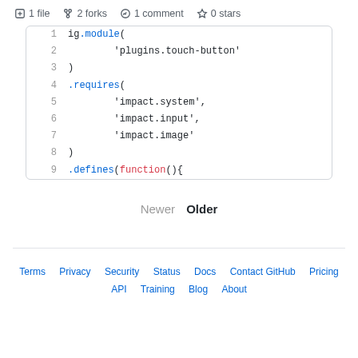1 file   2 forks   1 comment   0 stars
[Figure (screenshot): Code snippet showing JavaScript module definition with ig.module(), .requires(), and .defines(function(){ pattern, displayed in a rounded-border code box with line numbers 1-9]
Newer   Older
Terms  Privacy  Security  Status  Docs  Contact GitHub  Pricing  API  Training  Blog  About